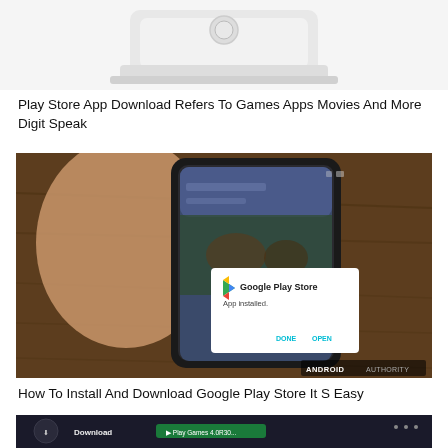[Figure (photo): Top portion of a white router or hardware device on white background (cropped)]
Play Store App Download Refers To Games Apps Movies And More Digit Speak
[Figure (photo): Hand holding an Android smartphone showing Google Play Store 'App installed' dialog with DONE and OPEN buttons. Android Authority watermark in bottom right corner.]
How To Install And Download Google Play Store It S Easy
[Figure (screenshot): Bottom portion of a screenshot showing a dark UI with Download button and Play Games text visible]